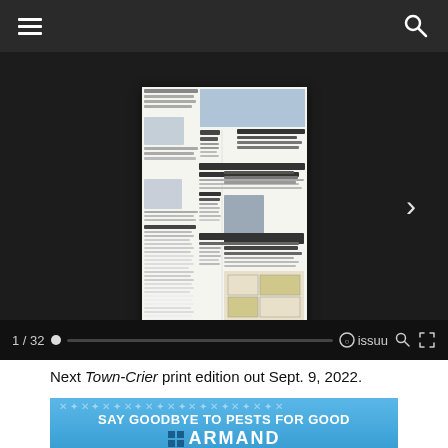Navigation bar with hamburger menu and search icon
[Figure (screenshot): Issuu viewer showing front page of Town-Crier newspaper, page 1 of 32, with progress bar and Issuu branding controls at bottom. A next-page arrow is visible on the right side.]
Next Town-Crier print edition out Sept. 9, 2022.
[Figure (photo): Advertisement banner for Armand pest control with text SAY GOODBYE TO PESTS FOR GOOD and Armand logo with blue grid icon]